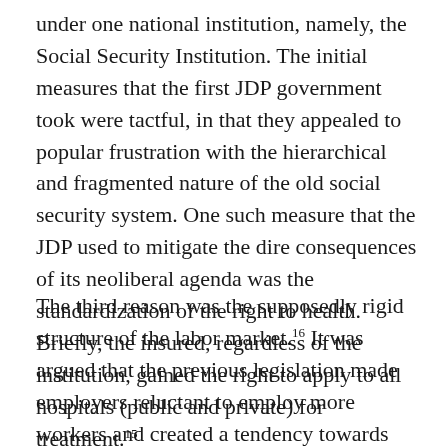under one national institution, namely, the Social Security Institution. The initial measures that the first JDP government took were tactful, in that they appealed to popular frustration with the hierarchical and fragmented nature of the old social security system. One such measure that the JDP used to mitigate the dire consequences of its neoliberal agenda was the standardization of the right to health. Briefly, the insured, regardless of the institution, gained the right to apply to all hospitals (public and private) for treatment.¹⁵
The third reason was the supposedly rigid structure of the labor market.¹⁶ It was argued that the previous legislation made employers reluctant to employ more workers and created a tendency towards informal employment. Here, the mentality behind the newly enacted Labor Law was echoed: work security meant first and foremost the security of the employer. In this